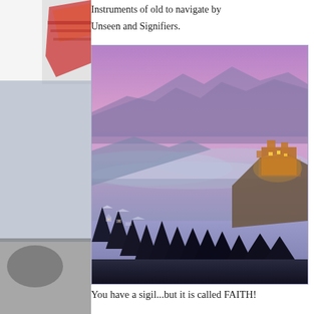Instruments of old to navigate by
Unseen and Signifiers.
[Figure (photo): A dramatic twilight landscape photo showing a hilltop castle or fortress illuminated in warm golden light, surrounded by dark snow-covered trees in the foreground, a misty valley below, and purple-pink mountains silhouetted against a vibrant violet and pink sky.]
You have a sigil...but it is called FAITH!